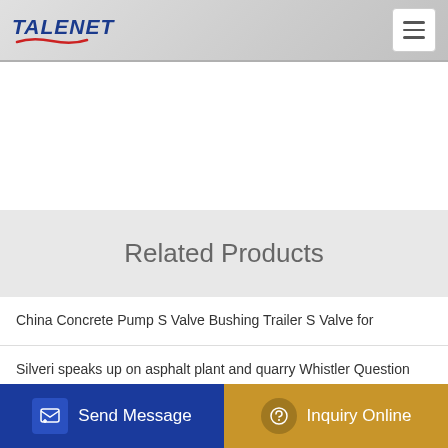TALENET
Related Products
China Concrete Pump S Valve Bushing Trailer S Valve for
Silveri speaks up on asphalt plant and quarry Whistler Question
Skip Hopper Lift Concrete Mixing Plant Bach Plant
Hs Code 84134000 of Concrete pumps Products